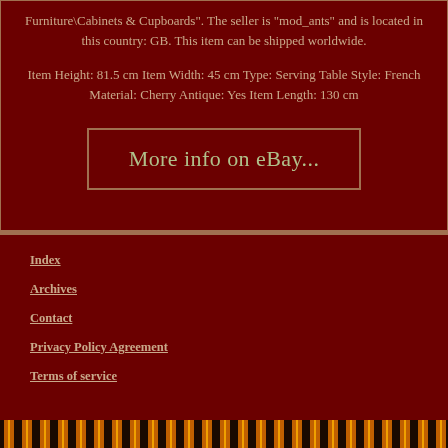Furniture\Cabinets & Cupboards". The seller is "mod_ants" and is located in this country: GB. This item can be shipped worldwide.
Item Height: 81.5 cm Item Width: 45 cm Type: Serving Table Style: French Material: Cherry Antique: Yes Item Length: 130 cm
[Figure (other): Button linking to eBay listing with text 'More info on eBay...']
Index
Archives
Contact
Privacy Policy Agreement
Terms of service